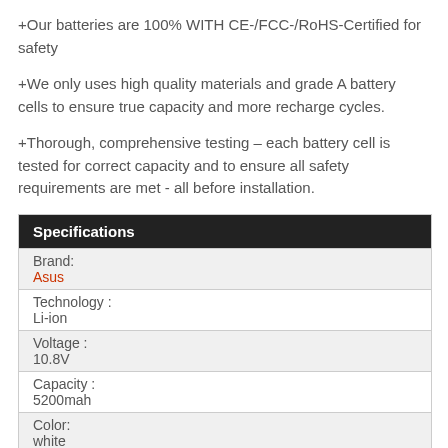+Our batteries are 100% WITH CE-/FCC-/RoHS-Certified for safety
+We only uses high quality materials and grade A battery cells to ensure true capacity and more recharge cycles.
+Thorough, comprehensive testing – each battery cell is tested for correct capacity and to ensure all safety requirements are met - all before installation.
| Specifications |
| --- |
| Brand: | Asus |
| Technology : | Li-ion |
| Voltage : | 10.8V |
| Capacity : | 5200mah |
| Color: | white |